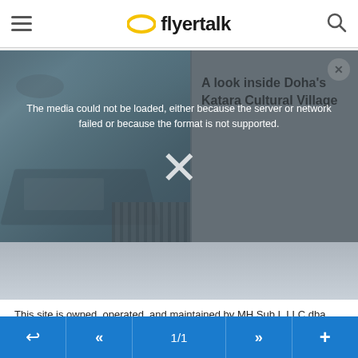FlyerTalk
[Figure (screenshot): Video media player showing an aerial view of Doha's Katara Cultural Village, with a media error overlay message and a close button. The error states 'The media could not be loaded, either because the server or network failed or because the format is not supported.' A large X dismiss button is visible in the center.]
This site is owned, operated, and maintained by MH Sub I, LLC dba
← << 1/1 >> +